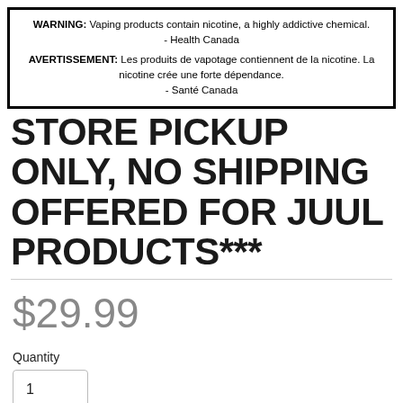WARNING: Vaping products contain nicotine, a highly addictive chemical. - Health Canada
AVERTISSEMENT: Les produits de vapotage contiennent de la nicotine. La nicotine crée une forte dépendance. - Santé Canada
STORE PICKUP ONLY, NO SHIPPING OFFERED FOR JUUL PRODUCTS***
$29.99
Quantity
1